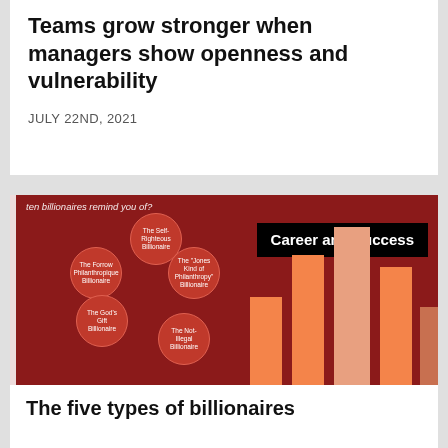Teams grow stronger when managers show openness and vulnerability
JULY 22ND, 2021
[Figure (infographic): Infographic on a dark red background showing bubble labels for types of billionaires (The Self-Righteous Billionaire, The Forrow Philanthropique Billionaire, The 'Jones Kind of Philanthropy' Billionaire, The God's Gift Billionaire, The Not-Illegal Billionaire) alongside a bar chart with orange bars of varying heights. A black badge reads 'Career and Success'.]
The five types of billionaires